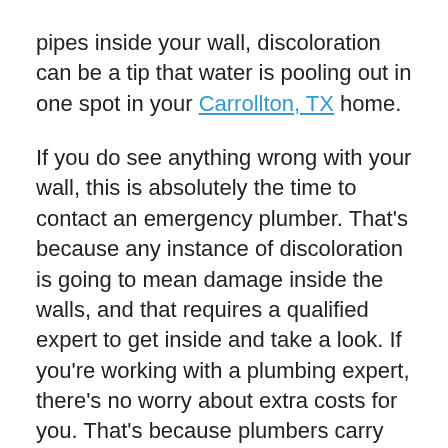pipes inside your wall, discoloration can be a tip that water is pooling out in one spot in your Carrollton, TX home.
If you do see anything wrong with your wall, this is absolutely the time to contact an emergency plumber. That's because any instance of discoloration is going to mean damage inside the walls, and that requires a qualified expert to get inside and take a look. If you're working with a plumbing expert, there's no worry about extra costs for you. That's because plumbers carry insurance that protects both them and their clients in case they have to cause damage in one place to fix a problem in another.
If that's the situation you face at your home,